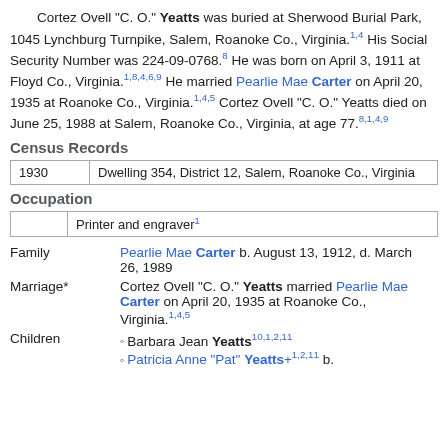Cortez Ovell "C. O." Yeatts was buried at Sherwood Burial Park, 1045 Lynchburg Turnpike, Salem, Roanoke Co., Virginia.1,4 His Social Security Number was 224-09-0768.8 He was born on April 3, 1911 at Floyd Co., Virginia.1,8,4,6,9 He married Pearlie Mae Carter on April 20, 1935 at Roanoke Co., Virginia.1,4,5 Cortez Ovell "C. O." Yeatts died on June 25, 1988 at Salem, Roanoke Co., Virginia, at age 77.8,1,4,9
Census Records
| Year | Location |
| --- | --- |
| 1930 | Dwelling 354, District 12, Salem, Roanoke Co., Virginia |
Occupation
|  | Occupation |
| --- | --- |
|  | Printer and engraver1 |
| Role | Detail |
| --- | --- |
| Family | Pearlie Mae Carter b. August 13, 1912, d. March 26, 1989 |
| Marriage* | Cortez Ovell "C. O." Yeatts married Pearlie Mae Carter on April 20, 1935 at Roanoke Co., Virginia.1,4,5 |
| Children | • Barbara Jean Yeatts10,1,2,11
• Patricia Anne "Pat" Yeatts+1,2,11 b. |